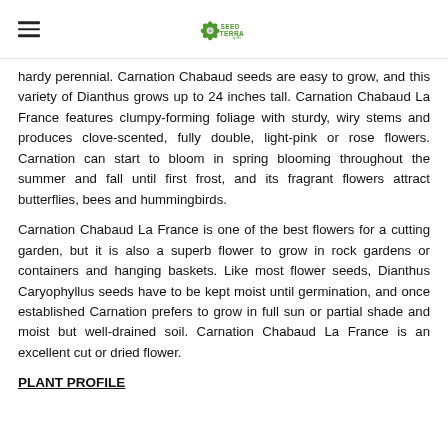Seed Terra logo and hamburger menu
hardy perennial. Carnation Chabaud seeds are easy to grow, and this variety of Dianthus grows up to 24 inches tall. Carnation Chabaud La France features clumpy-forming foliage with sturdy, wiry stems and produces clove-scented, fully double, light-pink or rose flowers. Carnation can start to bloom in spring blooming throughout the summer and fall until first frost, and its fragrant flowers attract butterflies, bees and hummingbirds.
Carnation Chabaud La France is one of the best flowers for a cutting garden, but it is also a superb flower to grow in rock gardens or containers and hanging baskets. Like most flower seeds, Dianthus Caryophyllus seeds have to be kept moist until germination, and once established Carnation prefers to grow in full sun or partial shade and moist but well-drained soil. Carnation Chabaud La France is an excellent cut or dried flower.
PLANT PROFILE